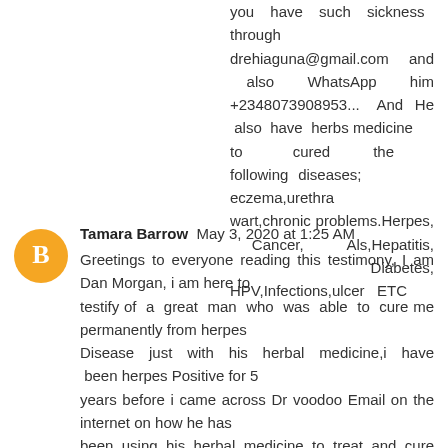you have such sickness through drehiaguna@gmail.com and also WhatsApp him +2348073908953... And He also have herbs medicine to cured the following diseases; eczema,urethra wart,chronic problems.Herpes, Cancer, Als,Hepatitis, Diabetes, HPV,Infections,ulcer ETC
Tamara Barrow  May 3, 2020 at 1:25 AM
Greetings to everyone reading this testimony, I am Dan Morgan, i am here to testify of a great man who was able to cure me permanently from herpes Disease just with his herbal medicine,i have been herpes Positive for 5 years before i came across Dr voodoo Email on the internet on how he has been using his herbal medicine to treat and cure patients from different virus, so i contacted him and i explain to him concerning my problem, i